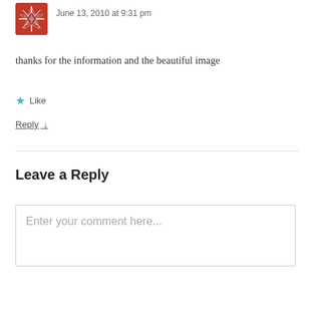[Figure (illustration): Red decorative snowflake/star avatar icon]
June 13, 2010 at 9:31 pm
thanks for the information and the beautiful image
★ Like
Reply ↓
Leave a Reply
Enter your comment here...